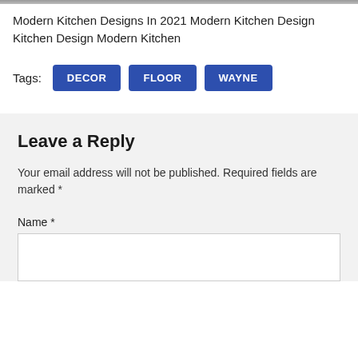[Figure (photo): Top strip of a kitchen photo, cropped]
Modern Kitchen Designs In 2021 Modern Kitchen Design Kitchen Design Modern Kitchen
Tags:  DECOR  FLOOR  WAYNE
Leave a Reply
Your email address will not be published. Required fields are marked *
Name *